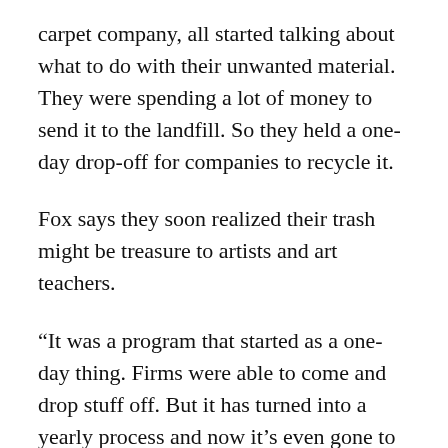carpet company, all started talking about what to do with their unwanted material. They were spending a lot of money to send it to the landfill. So they held a one-day drop-off for companies to recycle it.
Fox says they soon realized their trash might be treasure to artists and art teachers.
“It was a program that started as a one-day thing. Firms were able to come and drop stuff off. But it has turned into a yearly process and now it’s even gone to other cities.”
Fox says they’ve already saved more than 100 tons of material from going to the landfill.